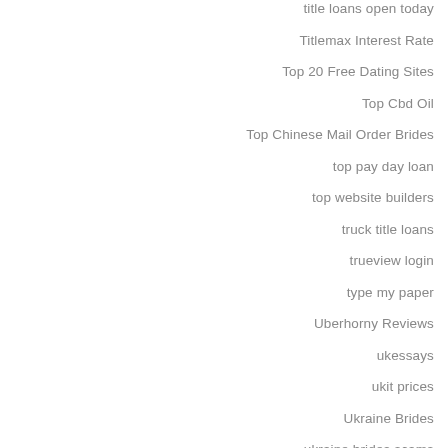title loans open today
Titlemax Interest Rate
Top 20 Free Dating Sites
Top Cbd Oil
Top Chinese Mail Order Brides
top pay day loan
top website builders
truck title loans
trueview login
type my paper
Uberhorny Reviews
ukessays
ukit prices
Ukraine Brides
ukraine brides scams
Ukrainian Bride